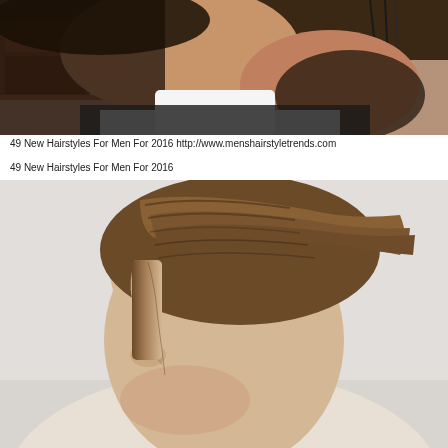[Figure (photo): Close-up side/back view of a man's head at a barbershop showing a fade haircut with beard stubble, wearing a black barber cape with white neck paper]
49 New Hairstyles For Men For 2016 http://www.menshairstyletrends.com
49 New Hairstyles For Men For 2016
[Figure (photo): Side profile of a man's head showing a slicked back undercut hairstyle with brown hair, featuring a fade on the sides]